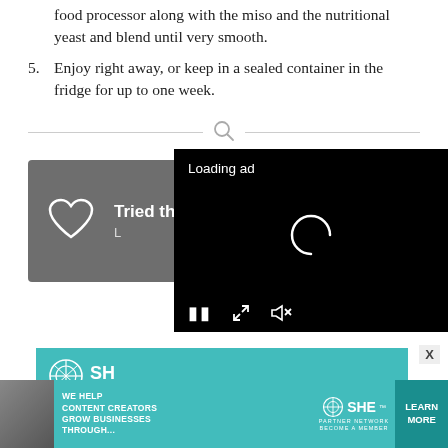food processor along with the miso and the nutritional yeast and blend until very smooth.
5. Enjoy right away, or keep in a sealed container in the fridge for up to one week.
[Figure (screenshot): Gray card with heart icon and text 'Tried this recipe?' with partial text below, overlaid by a black video loading overlay showing 'Loading ad' text and spinner, plus video controls (pause, expand, mute).]
[Figure (screenshot): Teal SHE Partner Network banner and bottom advertisement banner reading 'WE HELP CONTENT CREATORS GROW BUSINESSES THROUGH...' with SHE logo and LEARN MORE button.]